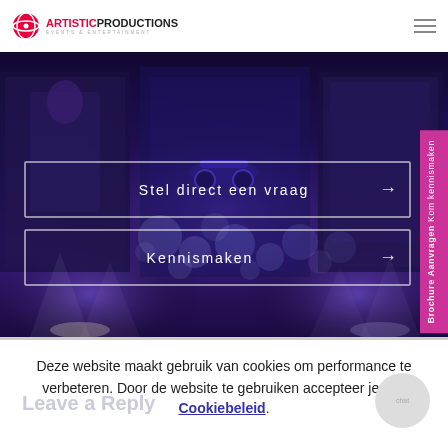Artistic Productions - Events & Entertainment
[Figure (photo): Hero image of an entertainment/events stage with colorful lighting, bokeh circles, performer silhouettes, and race car artwork panels. Two call-to-action buttons overlay the image: 'Stel direct een vraag →' and 'Kennismaken →'. A vertical pink side tab reads 'Brochure Aanvragen Kom kennismaken'.]
Deze website maakt gebruik van cookies om performance te verbeteren. Door de website te gebruiken accepteer je ons Cookiebeleid.
Leave a Reply